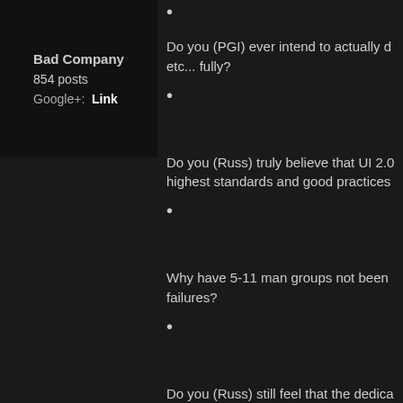Bad Company
854 posts
Google+: Link
•
Do you (PGI) ever intend to actually d... etc... fully?
•
Do you (Russ) truly believe that UI 2.0... highest standards and good practices...
•
Why have 5-11 man groups not been... failures?
•
Do you (Russ) still feel that the dedica... your game in the closed beta phase, t... upon pages upon pages of feedback a...